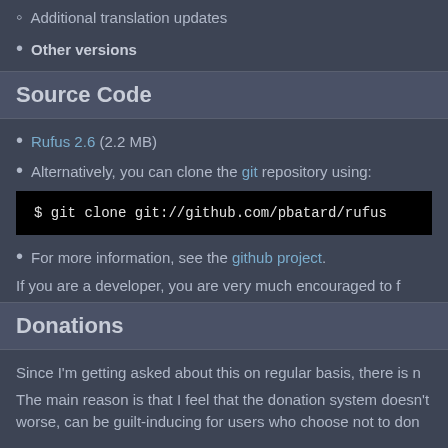Additional translation updates
Other versions
Source Code
Rufus 2.6 (2.2 MB)
Alternatively, you can clone the git repository using:
$ git clone git://github.com/pbatard/rufus
For more information, see the github project.
If you are a developer, you are very much encouraged to f
Donations
Since I'm getting asked about this on regular basis, there is n
The main reason is that I feel that the donation system doesn't worse, can be guilt-inducing for users who choose not to don